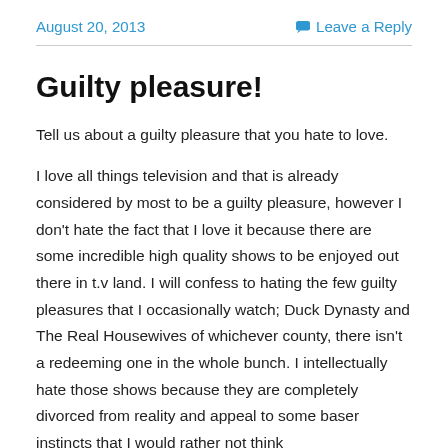August 20, 2013   Leave a Reply
Guilty pleasure!
Tell us about a guilty pleasure that you hate to love.
I love all things television and that is already considered by most to be a guilty pleasure, however I don't hate the fact that I love it because there are some incredible high quality shows to be enjoyed out there in t.v land. I will confess to hating the few guilty pleasures that I occasionally watch; Duck Dynasty and The Real Housewives of whichever county, there isn't a redeeming one in the whole bunch. I intellectually hate those shows because they are completely divorced from reality and appeal to some baser instincts that I would rather not think